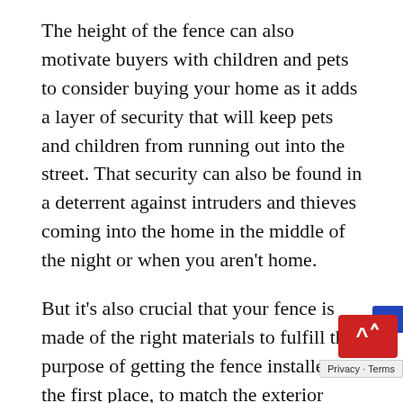The height of the fence can also motivate buyers with children and pets to consider buying your home as it adds a layer of security that will keep pets and children from running out into the street. That security can also be found in a deterrent against intruders and thieves coming into the home in the middle of the night or when you aren't home.
But it's also crucial that your fence is made of the right materials to fulfill the purpose of getting the fence installed in the first place, to match the exterior decor, and to reduce the amount of maintenance necessary to keep the fence looking its best at all times.
Accomplishing all of these things in equal meas… the best way to ensure that the fence will increas…